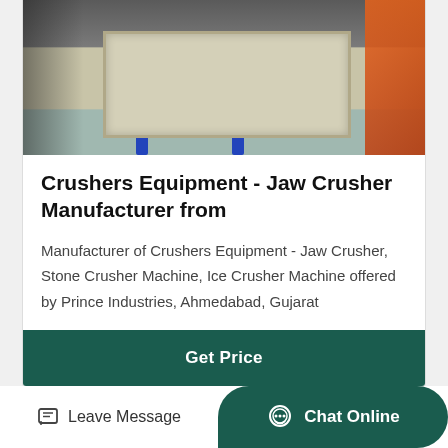[Figure (photo): Photo of a jaw crusher machine, cream/beige colored with blue supports, orange equipment visible on the right side]
Crushers Equipment - Jaw Crusher Manufacturer from
Manufacturer of Crushers Equipment - Jaw Crusher, Stone Crusher Machine, Ice Crusher Machine offered by Prince Industries, Ahmedabad, Gujarat
Get Price
[Figure (photo): Photo of industrial machinery in a factory setting with red cylindrical rollers and overhead equipment]
Leave Message
Chat Online